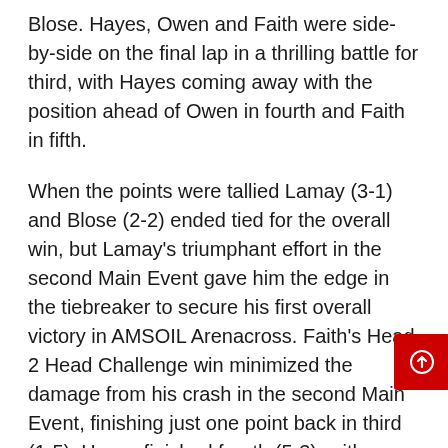Blose. Hayes, Owen and Faith were side-by-side on the final lap in a thrilling battle for third, with Hayes coming away with the position ahead of Owen in fourth and Faith in fifth.
When the points were tallied Lamay (3-1) and Blose (2-2) ended tied for the overall win, but Lamay's triumphant effort in the second Main Event gave him the edge in the tiebreaker to secure his first overall victory in AMSOIL Arenacross. Faith's Head 2 Head Challenge win minimized the damage from his crash in the second Main Event, finishing just one point back in third (1-5). Hayes finished fourth (5-3), with Owen fifth (7-4).
On an afternoon when the Race to the Championship standings had the potential for a major shakeup with the weather conditions, Blose stood tough and maintained control of the points. He added one point to his advantage over Faith and now has a three-point lead after two of five rounds in the Race to the Championship. Hayes moved